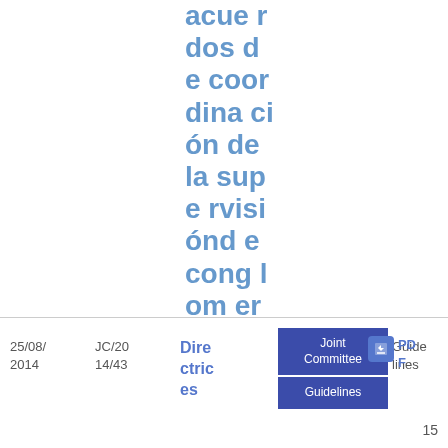acuerdos de coordinación de la supervisión de conglomerados financieros
| Date | Ref | Type | Committee | Document type | Format | Page |
| --- | --- | --- | --- | --- | --- | --- |
| 25/08/2014 | JC/2014/43 | Directrices | Joint Committee / Guidelines | Guidelines | PDF | 15 |